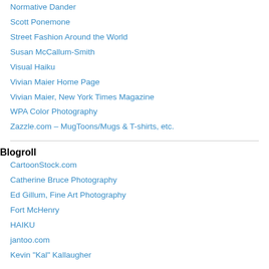Normative Dander
Scott Ponemone
Street Fashion Around the World
Susan McCallum-Smith
Visual Haiku
Vivian Maier Home Page
Vivian Maier, New York Times Magazine
WPA Color Photography
Zazzle.com – MugToons/Mugs & T-shirts, etc.
Blogroll
CartoonStock.com
Catherine Bruce Photography
Ed Gillum, Fine Art Photography
Fort McHenry
HAIKU
jantoo.com
Kevin "Kal" Kallaugher